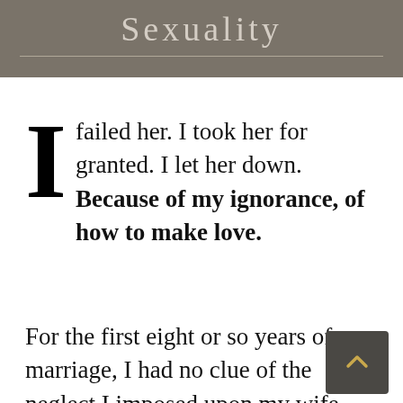Sexuality
I failed her. I took her for granted. I let her down. Because of my ignorance, of how to make love.
For the first eight or so years of my marriage, I had no clue of the neglect I imposed upon my wife.